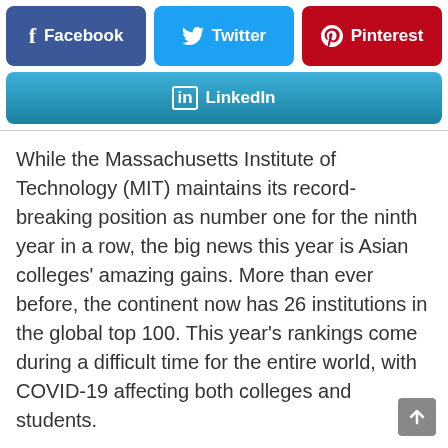[Figure (other): Social media share buttons: Facebook (blue), Twitter (cyan), Pinterest (red), LinkedIn (gradient blue)]
While the Massachusetts Institute of Technology (MIT) maintains its record-breaking position as number one for the ninth year in a row, the big news this year is Asian colleges' amazing gains. More than ever before, the continent now has 26 institutions in the global top 100. This year's rankings come during a difficult time for the entire world, with COVID-19 affecting both colleges and students.
On the QS ranking top 10, there are 5 American universities, 4 of which are filling the top 4 spots